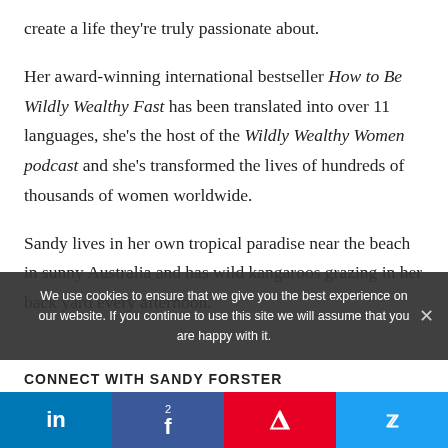create a life they're truly passionate about.
Her award-winning international bestseller How to Be Wildly Wealthy Fast has been translated into over 11 languages, she's the host of the Wildly Wealthy Women podcast and she's transformed the lives of hundreds of thousands of women worldwide.
Sandy lives in her own tropical paradise near the beach in sunny Australia and has wild kangaroos grazing in her back yard every afternoon.
We use cookies to ensure that we give you the best experience on our website. If you continue to use this site we will assume that you are happy with it.
CONNECT WITH SANDY FORSTER
in | 2 f | p | twitter